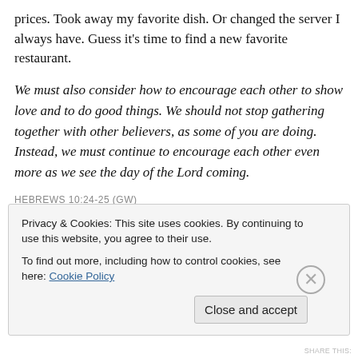prices. Took away my favorite dish. Or changed the server I always have. Guess it's time to find a new favorite restaurant.
We must also consider how to encourage each other to show love and to do good things. We should not stop gathering together with other believers, as some of you are doing. Instead, we must continue to encourage each other even more as we see the day of the Lord coming.
HEBREWS 10:24-25 (GW)
But what if church is something more? What if it's
Privacy & Cookies: This site uses cookies. By continuing to use this website, you agree to their use.
To find out more, including how to control cookies, see here: Cookie Policy
Close and accept